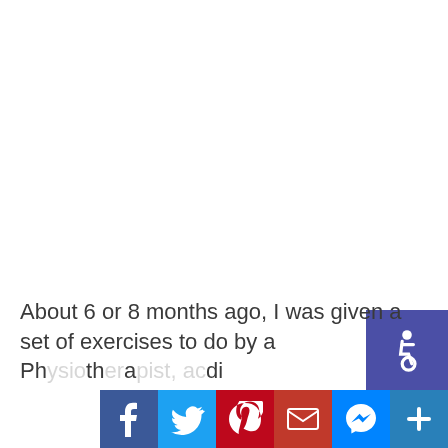[Figure (other): Accessibility icon button (wheelchair symbol) in purple/indigo background, positioned at right side]
[Figure (other): Social media sharing bar with Facebook, Twitter, Pinterest, Email, Messenger, and More (+) buttons]
About 6 or 8 months ago, I was given a set of exercises to do by a Ph[ysio]th[er]a[pist, ac]di...